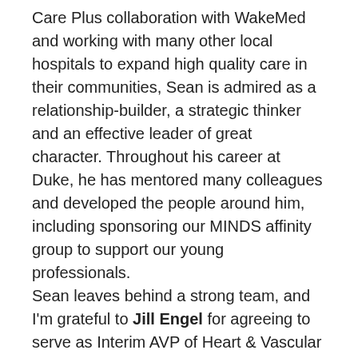Care Plus collaboration with WakeMed and working with many other local hospitals to expand high quality care in their communities, Sean is admired as a relationship-builder, a strategic thinker and an effective leader of great character. Throughout his career at Duke, he has mentored many colleagues and developed the people around him, including sponsoring our MINDS affinity group to support our young professionals.
Sean leaves behind a strong team, and I'm grateful to Jill Engel for agreeing to serve as Interim AVP of Heart & Vascular Services. Over the next two months, we'll be working with Sean to ensure a smooth transition.
Sean will be with us until the end of January 2021. He and his family are planning to remain here in Durham, and we look forward to staying connected and working